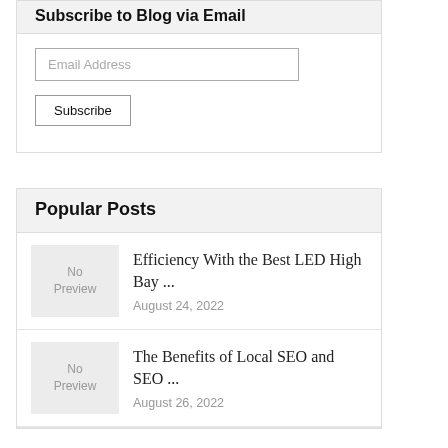Subscribe to Blog via Email
Email Address
Subscribe
Popular Posts
[Figure (other): No Preview thumbnail placeholder]
Efficiency With the Best LED High Bay ...
August 24, 2022
[Figure (other): No Preview thumbnail placeholder]
The Benefits of Local SEO and SEO ...
August 26, 2022